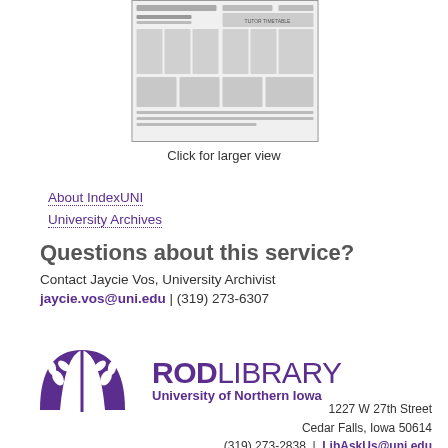[Figure (photo): Thumbnail image of a newspaper page with multiple columns of text]
Click for larger view
About IndexUNI
University Archives
Questions about this service?
Contact Jaycie Vos, University Archivist
jaycie.vos@uni.edu | (319) 273-6307
[Figure (logo): Rod Library, University of Northern Iowa logo with purple open book/tree icon]
1227 W 27th Street
Cedar Falls, Iowa 50614
(319) 273-2838 | LibAskUs@uni.edu